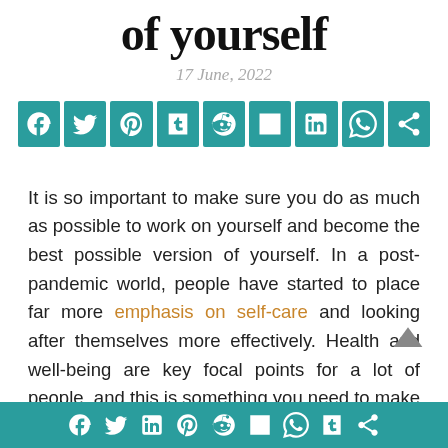of yourself
17 June, 2022
[Figure (infographic): Social media share buttons row: Facebook, Twitter, Pinterest, Tumblr, Reddit, Mix, LinkedIn, WhatsApp, Share]
It is so important to make sure you do as much as possible to work on yourself and become the best possible version of yourself. In a post-pandemic world, people have started to place far more emphasis on self-care and looking after themselves more effectively. Health and well-being are key focal points for a lot of people, and this is something you need to make the most of.
There are so many factors that you need to keep in mind when you are looking to become a better version of
[Figure (infographic): Social media share buttons footer bar: Facebook, Twitter, LinkedIn, Pinterest, Reddit, Mix, WhatsApp, Tumblr, Share]